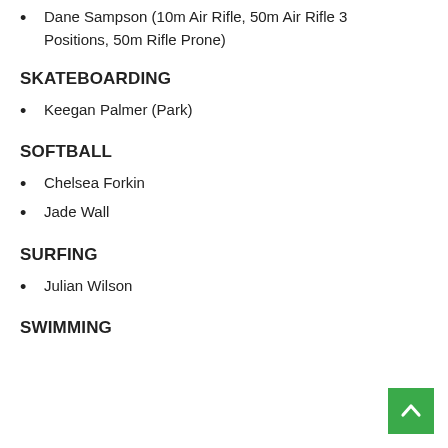Dane Sampson (10m Air Rifle, 50m Air Rifle 3 Positions, 50m Rifle Prone)
SKATEBOARDING
Keegan Palmer (Park)
SOFTBALL
Chelsea Forkin
Jade Wall
SURFING
Julian Wilson
SWIMMING